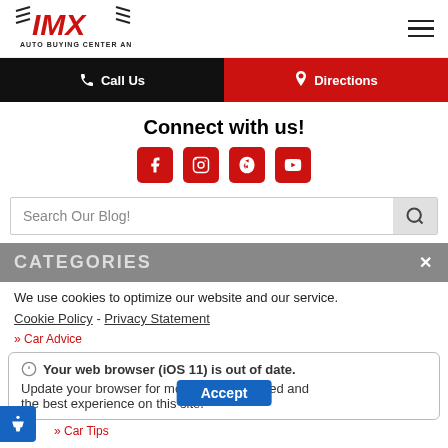[Figure (logo): IMX Auto Buying Center and Leasing logo with diagonal speed lines]
Call Us
Directions
Connect with us!
[Figure (illustration): Social media icons: Facebook, Instagram, Yelp, YouTube — red rounded square buttons]
Search Our Blog!
CATEGORIES
We use cookies to optimize our website and our service.
Cookie Policy - Privacy Statement
» Car Advice
Your web browser (iOS 11) is out of date. Update your browser for more security, speed and the best experience on this site.
Accept
» Car Tips